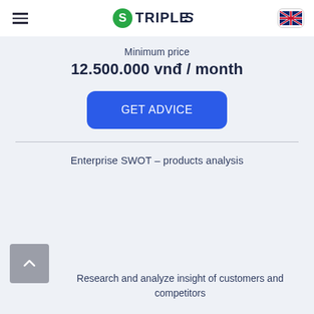Triple S
Minimum price
12.500.000 vnđ / month
GET ADVICE
Enterprise SWOT – products analysis
Research and analyze insight of customers and competitors